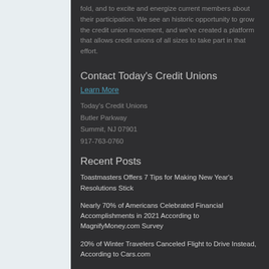fold, and to excite and energize current members about their participation. We see an historic opportunity to grow the credit union movement, and we've created a platform that allows credit unions of all sizes to take part in that effort.
Contact Today's Credit Unions
Learn More
Today's Credit Unions
Butler Parkway
Summit, NJ 07901
917-763-0760
Recent Posts
Toastmasters Offers 7 Tips for Making New Year's Resolutions Stick
Nearly 70% of Americans Celebrated Financial Accomplishments in 2021 According to MagnifyMoney.com Survey
20% of Winter Travelers Canceled Flight to Drive Instead, According to Cars.com
Christmas is Safest Holiday to Drive, AutoInsurance.org Analysis Shows